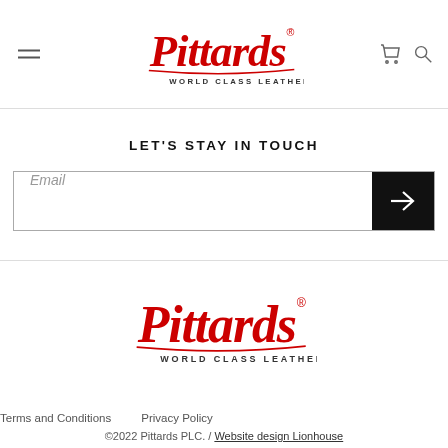[Figure (logo): Pittards World Class Leather logo in red script with hamburger menu and basket/search icons in header]
LET'S STAY IN TOUCH
[Figure (other): Email input field with arrow submit button]
[Figure (logo): Pittards World Class Leather logo in red script in footer]
Terms and Conditions    Privacy Policy
©2022 Pittards PLC. / Website design Lionhouse